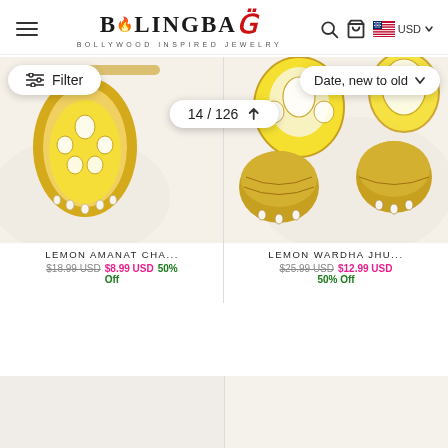BlingBag – Bollywood Inspired Jewelry
[Figure (screenshot): BlingBag e-commerce website header with hamburger menu, BlingBag logo with flame icon, search icon, bag icon, US flag and USD currency selector]
[Figure (screenshot): Filter pill button on left and Date new to old sort dropdown on right, with 14/126 pagination pill in center]
[Figure (photo): Left product: Lemon Amanat Cha... - gold chandbali earrings with yellow enamel and pearl drops on cream fabric background]
[Figure (photo): Right product: Lemon Wardha Jhu... - gold jhumka earrings with yellow enamel and kundan work on cream background]
LEMON AMANAT CHA...
$18.99 USD  $8.99 USD  50% Off
LEMON WARDHA JHU...
$25.99 USD  $12.99 USD  50% Off